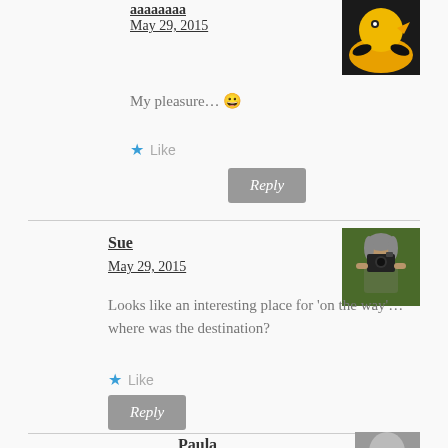May 29, 2015
My pleasure… 😀
Like
Reply
Sue
May 29, 2015
Looks like an interesting place for 'on the way'…where was the destination?
Like
Reply
Paula